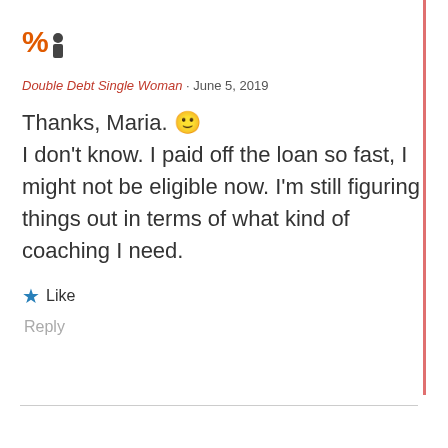[Figure (logo): Percent sign and person icon logo for Double Debt Single Woman blog]
Double Debt Single Woman · June 5, 2019
Thanks, Maria. 🙂 I don't know. I paid off the loan so fast, I might not be eligible now. I'm still figuring things out in terms of what kind of coaching I need.
★ Like
Reply